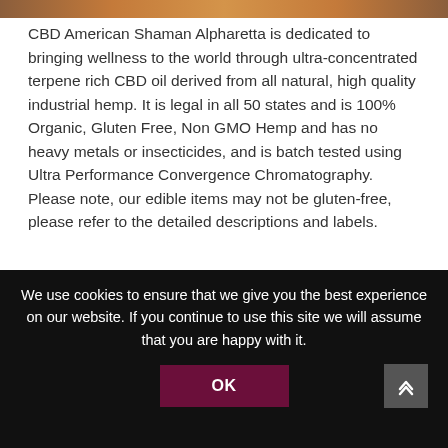[Figure (photo): Decorative image bar at top of page showing warm brown/amber tones]
CBD American Shaman Alpharetta is dedicated to bringing wellness to the world through ultra-concentrated terpene rich CBD oil derived from all natural, high quality industrial hemp. It is legal in all 50 states and is 100% Organic, Gluten Free, Non GMO Hemp and has no heavy metals or insecticides, and is batch tested using Ultra Performance Convergence Chromatography. Please note, our edible items may not be gluten-free, please refer to the detailed descriptions and labels.
It is known to support and bring relief to the body and
We use cookies to ensure that we give you the best experience on our website. If you continue to use this site we will assume that you are happy with it.